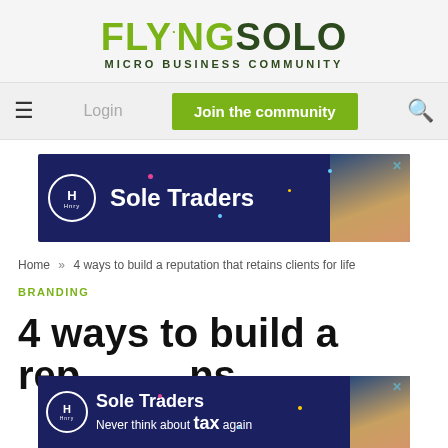[Figure (logo): FlyingSolo Micro Business Community logo - green text with dark green tagline]
[Figure (screenshot): Navigation bar with hamburger menu, Login text, green Join the community button, and search icon]
[Figure (photo): Sole Traders advertisement banner by Hnry with dark blue background and woman photo]
Home » 4 ways to build a reputation that retains clients for life
BRANDING
4 ways to build a rep...ns
[Figure (photo): Second Sole Traders advertisement by Hnry - Never think about tax again - overlaid on article title]